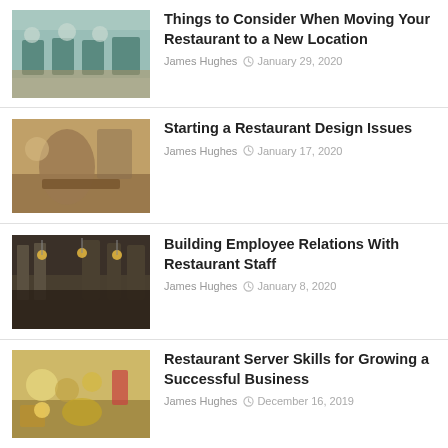[Figure (photo): Restaurant interior with teal chairs and wooden tables]
Things to Consider When Moving Your Restaurant to a New Location
James Hughes   January 29, 2020
[Figure (photo): Young person leaning on a restaurant counter smiling]
Starting a Restaurant Design Issues
James Hughes   January 17, 2020
[Figure (photo): Dark restaurant bar area with pendant lights and equipment]
Building Employee Relations With Restaurant Staff
James Hughes   January 8, 2020
[Figure (photo): Restaurant table with food, drinks, and breakfast items]
Restaurant Server Skills for Growing a Successful Business
James Hughes   December 16, 2019